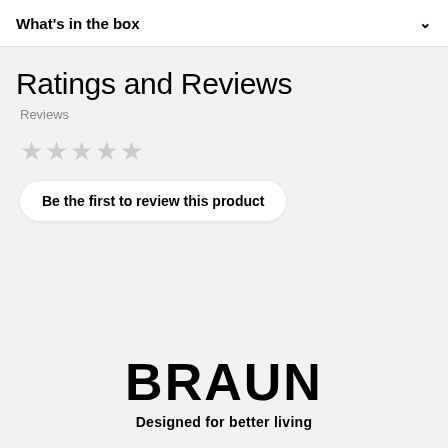What's in the box
Ratings and Reviews
Reviews
[Figure (other): Five empty/grey star rating icons indicating no reviews yet]
Be the first to review this product
[Figure (logo): Braun brand logo in large bold black uppercase letters]